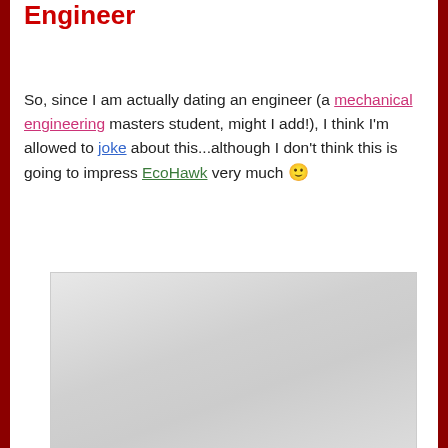Engineer
So, since I am actually dating an engineer (a mechanical engineering masters student, might I add!), I think I'm allowed to joke about this...although I don't think this is going to impress EcoHawk very much 🙂
[Figure (photo): A light grey textured background image, appears to be a product photo placeholder]
[Figure (illustration): I love my engineer boyfriend graphic with bold italic text, red heart, and CafePress watermark]